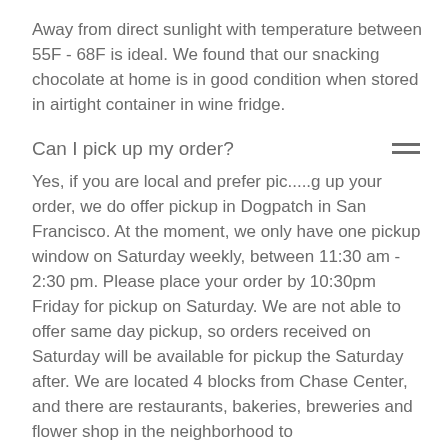Away from direct sunlight with temperature between 55F - 68F is ideal. We found that our snacking chocolate at home is in good condition when stored in airtight container in wine fridge.
Can I pick up my order?
Yes, if you are local and prefer pic.....g up your order, we do offer pickup in Dogpatch in San Francisco. At the moment, we only have one pickup window on Saturday weekly, between 11:30 am - 2:30 pm. Please place your order by 10:30pm Friday for pickup on Saturday. We are not able to offer same day pickup, so orders received on Saturday will be available for pickup the Saturday after. We are located 4 blocks from Chase Center, and there are restaurants, bakeries, breweries and flower shop in the neighborhood to